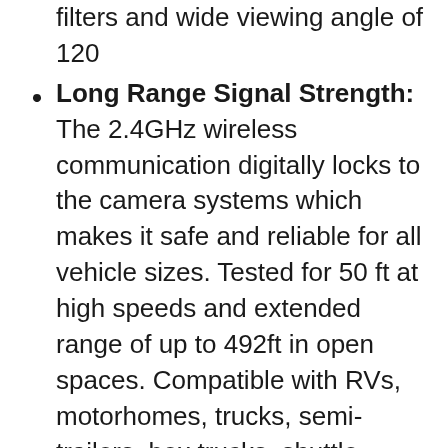filters and wide viewing angle of 120
Long Range Signal Strength: The 2.4GHz wireless communication digitally locks to the camera systems which makes it safe and reliable for all vehicle sizes. Tested for 50 ft at high speeds and extended range of up to 492ft in open spaces. Compatible with RVs, motorhomes, trucks, semi-trailers, box trucks, shuttle buses, commuter buses, and tractors
Easy & Quick Installation: Most RVs are already prepped for the Vision S Sharkfin camera, eliminating extensive drilling requirements. Optical Lens: F2.0
Microphone & Motion Detection: Automatically detects movement to auto awake the display. It also includes a